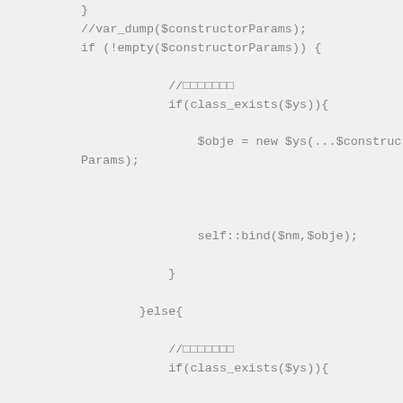//var_dump($constructorParams);
if (!empty($constructorParams)) {

            //□□□□□□□
            if(class_exists($ys)){

                $obje = new $ys(...$constructorParams);


                self::bind($nm,$obje);

            }

        }else{

            //□□□□□□□
            if(class_exists($ys)){